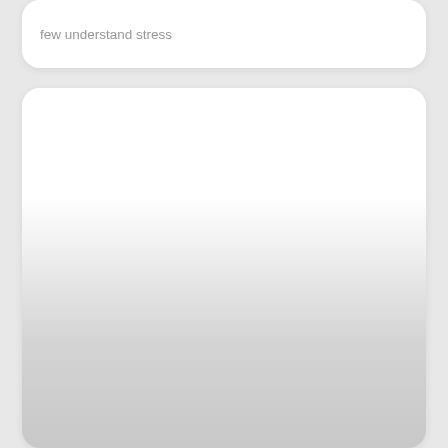few understand stress
[Figure (other): Large white card panel with gradient fading to light gray at the bottom, no visible content]